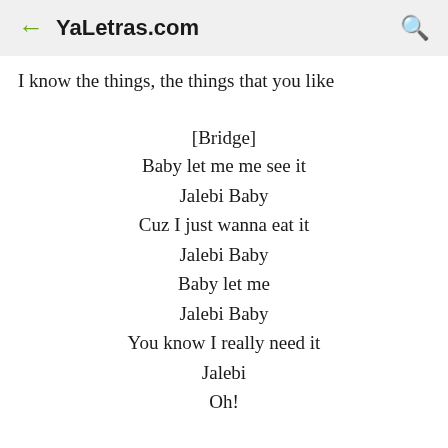← YaLetras.com 🔍
I know the things, the things that you like
[Bridge]
Baby let me me see it
Jalebi Baby
Cuz I just wanna eat it
Jalebi Baby
Baby let me
Jalebi Baby
You know I really need it
Jalebi
Oh!